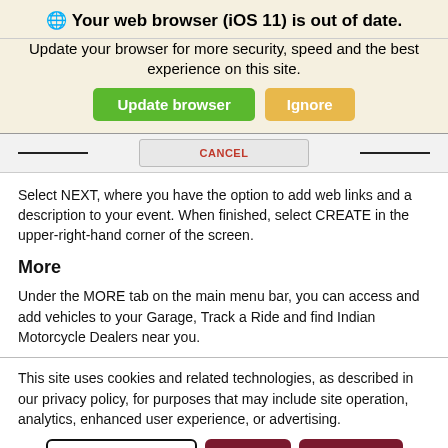🌐 Your web browser (iOS 11) is out of date.
Update your browser for more security, speed and the best experience on this site.
[Figure (screenshot): Green 'Update browser' button and orange 'Ignore' button]
[Figure (screenshot): Navigation bar with two horizontal lines on left and right and a CANCEL button in the center]
Select NEXT, where you have the option to add web links and a description to your event. When finished, select CREATE in the upper-right-hand corner of the screen.
More
Under the MORE tab on the main menu bar, you can access and add vehicles to your Garage, Track a Ride and find Indian Motorcycle Dealers near you.
This site uses cookies and related technologies, as described in our privacy policy, for purposes that may include site operation, analytics, enhanced user experience, or advertising.
[Figure (screenshot): Manage Settings button (outlined), Accept button (dark red), Decline All button (dark red)]